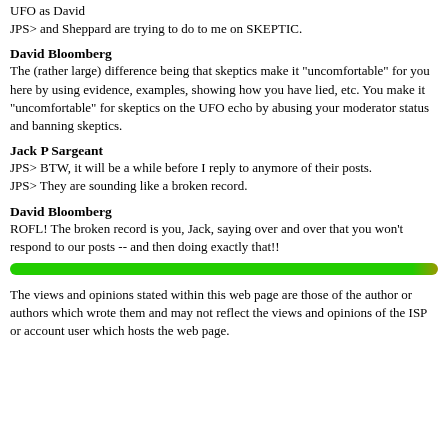UFO as David
JPS> and Sheppard are trying to do to me on SKEPTIC.
David Bloomberg
The (rather large) difference being that skeptics make it "uncomfortable" for you here by using evidence, examples, showing how you have lied, etc. You make it "uncomfortable" for skeptics on the UFO echo by abusing your moderator status and banning skeptics.
Jack P Sargeant
JPS> BTW, it will be a while before I reply to anymore of their posts.
JPS> They are sounding like a broken record.
David Bloomberg
ROFL! The broken record is you, Jack, saying over and over that you won't respond to our posts -- and then doing exactly that!!
[Figure (other): Green horizontal divider bar]
The views and opinions stated within this web page are those of the author or authors which wrote them and may not reflect the views and opinions of the ISP or account user which hosts the web page.